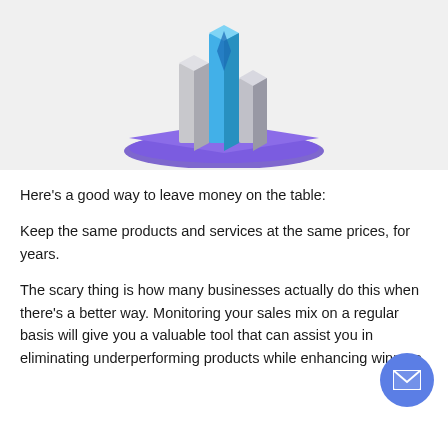[Figure (illustration): Isometric illustration of bar charts or pillars on a purple platform, partially visible at the top of the page, on a light grey background.]
Here's a good way to leave money on the table:
Keep the same products and services at the same prices, for years.
The scary thing is how many businesses actually do this when there's a better way. Monitoring your sales mix on a regular basis will give you a valuable tool that can assist you in eliminating underperforming products while enhancing winners.